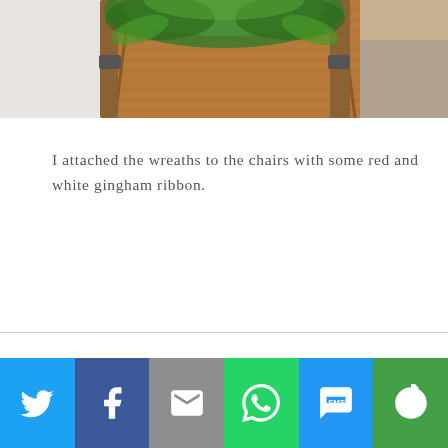[Figure (photo): Close-up photo of a wooden chair back with rattan/wicker weaving and green foliage/wreath on top, partial view of a white cloth and a rug in the background.]
I attached the wreaths to the chairs with some red and white gingham ribbon.
[Figure (infographic): Social media share bar with six buttons: Twitter (blue bird icon), Facebook (dark blue F icon), Email (grey envelope icon), WhatsApp (green speech bubble icon), SMS (blue SMS bubble icon), More (green circular arrow icon).]